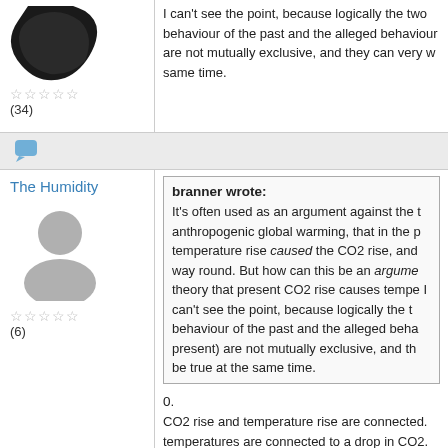I can't see the point, because logically the two behaviour of the past and the alleged behaviour are not mutually exclusive, and they can very w same time.
(34)
The Humidity
[Figure (illustration): Generic user avatar silhouette in grey]
(6)
branner wrote: It's often used as an argument against the t anthropogenic global warming, that in the p temperature rise caused the CO2 rise, and way round. But how can this be an argume theory that present CO2 rise causes tempe I can't see the point, because logically the t behaviour of the past and the alleged beha present) are not mutually exclusive, and th be true at the same time.
0.
CO2 rise and temperature rise are connected. temperatures are connected to a drop in CO2.
1.
The Climate change is in the humidity and only